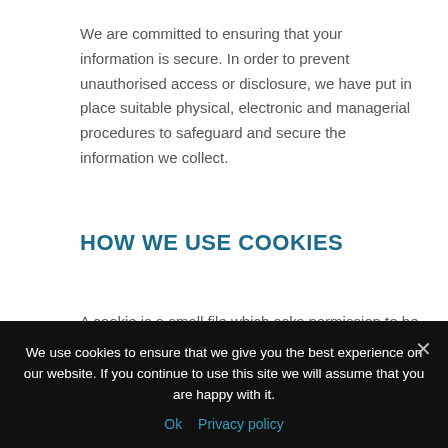We are committed to ensuring that your information is secure. In order to prevent unauthorised access or disclosure, we have put in place suitable physical, electronic and managerial procedures to safeguard and secure the information we collect.
HOW WE USE COOKIES
A cookie is a small file which asks permission to be placed on your computer's hard drive. Once you agree, the file is added and the cookie helps analyse web traffic or lets you
We use cookies to ensure that we give you the best experience on our website. If you continue to use this site we will assume that you are happy with it.
Ok   Privacy policy